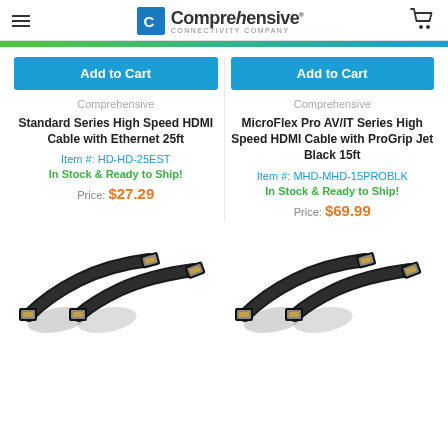Comprehensive Connectivity Company
Add to Cart
Comprehensive
Standard Series High Speed HDMI Cable with Ethernet 25ft
Item #: HD-HD-25EST
In Stock & Ready to Ship!
Price: $27.29
Add to Cart
Comprehensive
MicroFlex Pro AV/IT Series High Speed HDMI Cable with ProGrip Jet Black 15ft
Item #: MHD-MHD-15PROBLK
In Stock & Ready to Ship!
Price: $69.99
[Figure (photo): Two black HDMI cable ends photographed on white background, left product]
[Figure (photo): Two black HDMI cable ends photographed on white background, right product]